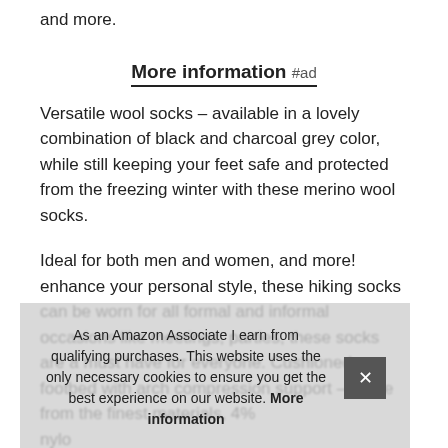and more.
More information #ad
Versatile wool socks – available in a lovely combination of black and charcoal grey color, while still keeping your feet safe and protected from the freezing winter with these merino wool socks.
Ideal for both men and women, and more! enhance your personal style, these hiking socks can be worn for all formal and informal occasions like meetings, parties, these socks are a must have for everyone. Cushioned footbed with arch compression support – made from the finest materials, 4% nylo… yarn… a fu… soc… engineered arch compression support for full-motion
As an Amazon Associate I earn from qualifying purchases. This website uses the only necessary cookies to ensure you get the best experience on our website. More information